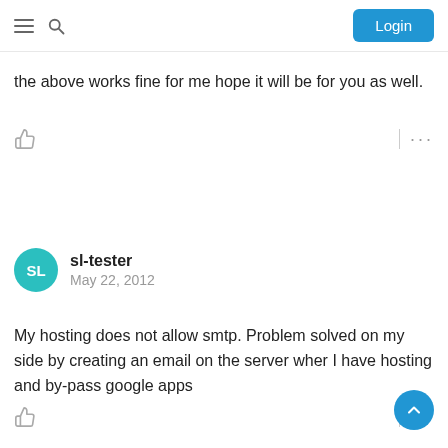Navigation bar with hamburger menu, search icon, and Login button
the above works fine for me hope it will be for you as well.
sl-tester
May 22, 2012
My hosting does not allow smtp. Problem solved on my side by creating an email on the server wher I have hosting and by-pass google apps